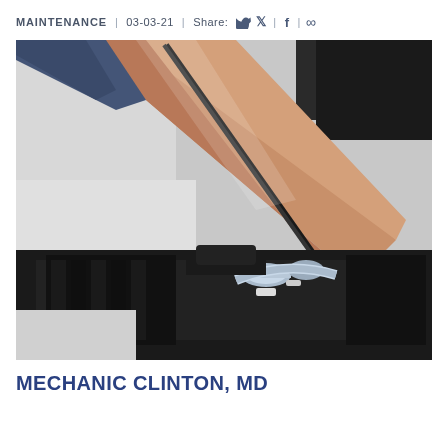MAINTENANCE | 03-03-21 | Share:
[Figure (photo): A mechanic working on a car engine, reaching under the open hood with one arm to use a tool on the engine components. Close-up shot showing the engine bay with various metal parts, hoses, and components.]
MECHANIC CLINTON, MD